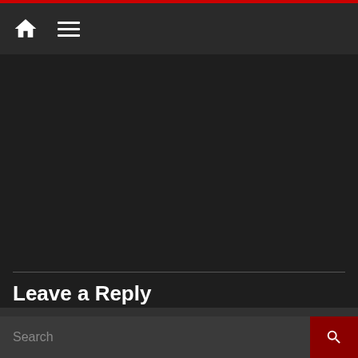[Figure (screenshot): Navigation bar with home icon and hamburger menu on dark background]
Leave a Reply
You must be logged in to post a comment.
This site uses Akismet to reduce spam. Learn how your co...
We use cookies to ensure that we give you the best experience on our website. If you continue to use this site we will assume that you are happy with it.
I understand   Privacy policy
Search